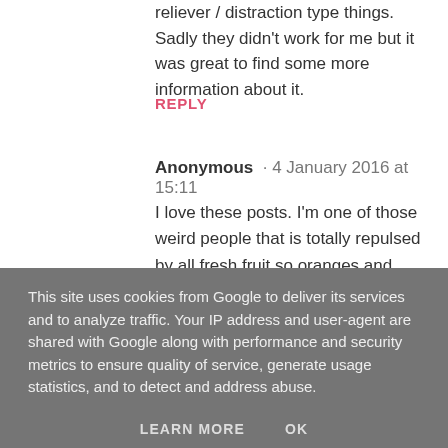reliever / distraction type things. Sadly they didn't work for me but it was great to find some more information about it.
REPLY
Anonymous · 4 January 2016 at 15:11
I love these posts. I'm one of those weird people that is totally repulsed by all fresh fruit so oranges and satsumas would both be more likely to appear as a biggest fear. Behind spiders though. Creepy little 8 legged beasts!
This site uses cookies from Google to deliver its services and to analyze traffic. Your IP address and user-agent are shared with Google along with performance and security metrics to ensure quality of service, generate usage statistics, and to detect and address abuse.
LEARN MORE    OK